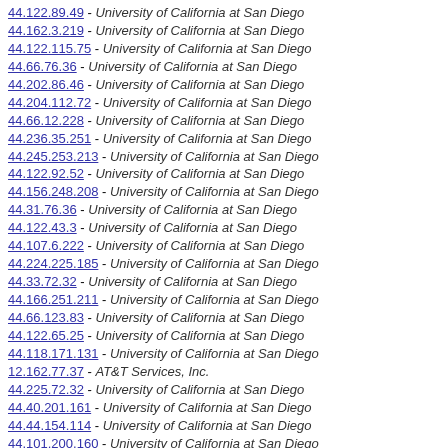44.122.89.49 - University of California at San Diego
44.162.3.219 - University of California at San Diego
44.122.115.75 - University of California at San Diego
44.66.76.36 - University of California at San Diego
44.202.86.46 - University of California at San Diego
44.204.112.72 - University of California at San Diego
44.66.12.228 - University of California at San Diego
44.236.35.251 - University of California at San Diego
44.245.253.213 - University of California at San Diego
44.122.92.52 - University of California at San Diego
44.156.248.208 - University of California at San Diego
44.31.76.36 - University of California at San Diego
44.122.43.3 - University of California at San Diego
44.107.6.222 - University of California at San Diego
44.224.225.185 - University of California at San Diego
44.33.72.32 - University of California at San Diego
44.166.251.211 - University of California at San Diego
44.66.123.83 - University of California at San Diego
44.122.65.25 - University of California at San Diego
44.118.171.131 - University of California at San Diego
12.162.77.37 - AT&T Services, Inc.
44.225.72.32 - University of California at San Diego
44.40.201.161 - University of California at San Diego
44.44.154.114 - University of California at San Diego
44.101.200.160 - University of California at San Diego
44.62.12.228 - University of California at San Diego
44.214.74.34 - University of California at San Diego
44.45.100.60 - University of California at San Diego
44.45.57.17 - University of California at San Diego
44.65.57.17 - University of California at San Diego